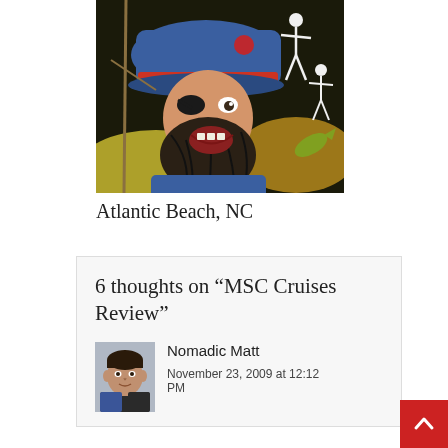[Figure (illustration): Colorful illustration of a bearded pirate wearing a blue hat with a red band, open mouth, against a dark background with skeleton figures and ropes]
Atlantic Beach, NC
6 thoughts on “MSC Cruises Review”
[Figure (photo): Small square avatar photo of a young man, presumably Nomadic Matt]
Nomadic Matt
November 23, 2009 at 12:12 PM